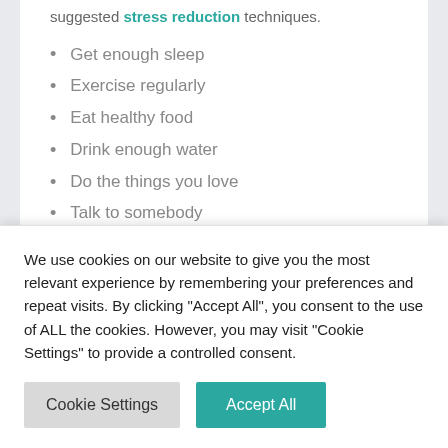suggested stress reduction techniques.
Get enough sleep
Exercise regularly
Eat healthy food
Drink enough water
Do the things you love
Talk to somebody
6. Don't Misuse
We use cookies on our website to give you the most relevant experience by remembering your preferences and repeat visits. By clicking "Accept All", you consent to the use of ALL the cookies. However, you may visit "Cookie Settings" to provide a controlled consent.